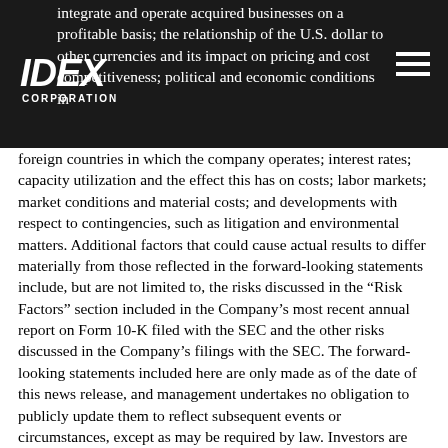integrate and operate acquired businesses on a profitable basis; the relationship of the U.S. dollar to other currencies and its impact on pricing and cost competitiveness; political and economic conditions in foreign countries in which the company operates;
foreign countries in which the company operates; interest rates; capacity utilization and the effect this has on costs; labor markets; market conditions and material costs; and developments with respect to contingencies, such as litigation and environmental matters. Additional factors that could cause actual results to differ materially from those reflected in the forward-looking statements include, but are not limited to, the risks discussed in the “Risk Factors” section included in the Company’s most recent annual report on Form 10-K filed with the SEC and the other risks discussed in the Company’s filings with the SEC. The forward-looking statements included here are only made as of the date of this news release, and management undertakes no obligation to publicly update them to reflect subsequent events or circumstances, except as may be required by law. Investors are cautioned not to rely unduly on forward-